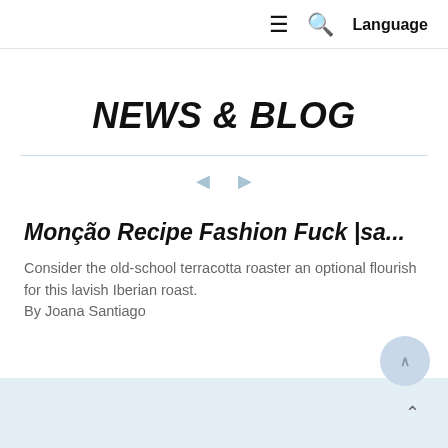≡ 🔍 Language
NEWS & BLOG
◄ ►
Monção Recipe Fashion Fuck |sa...
Consider the old-school terracotta roaster an optional flourish for this lavish Iberian roast.
By Joana Santiago